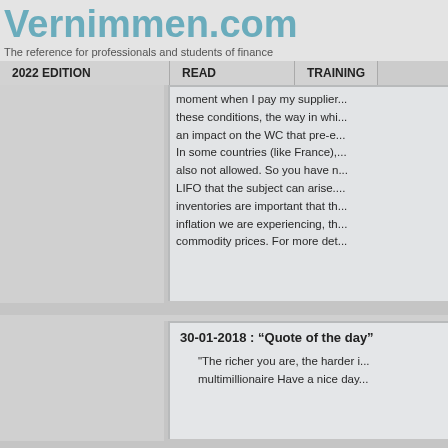Vernimmen.com
The reference for professionals and students of finance
2022 EDITION | READ | TRAINING
moment when I pay my supplier... these conditions, the way in whi... an impact on the WC that pre-e... In some countries (like France),... also not allowed. So you have n... LIFO that the subject can arise.... inventories are important that th... inflation we are experiencing, th... commodity prices. For more det...
30-01-2018 : “Quote of the day”
"The richer you are, the harder i... multimillionaire Have a nice day...